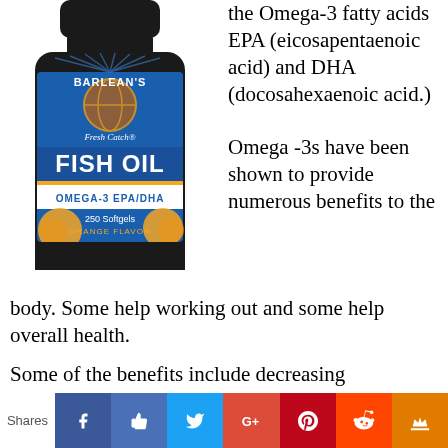[Figure (photo): Barlean's Fresh Catch Fish Oil supplement bottle - Omega-3 EPA/DHA, 250 Softgels, Orange Flavor]
the Omega-3 fatty acids EPA (eicosapentaenoic acid) and DHA (docosahexaenoic acid.)
Omega -3s have been shown to provide numerous benefits to the body. Some help working out and some help overall health.
Some of the benefits include decreasing inflammation [4] and muscle soreness [5], improving brain function [6]and memory [7], increasing fat loss [8,] and lowering
Shares [social share icons: Facebook, Like, Twitter, Google+, Pinterest, Reddit, Crown]